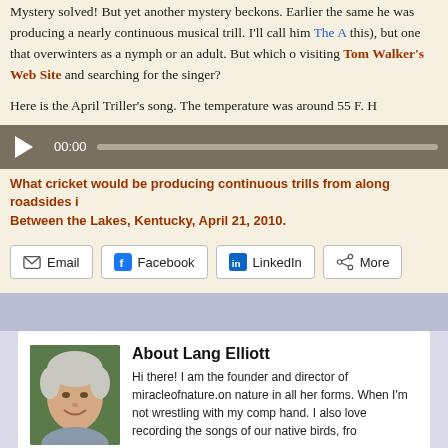Mystery solved! But yet another mystery beckons. Earlier the same he was producing a nearly continuous musical trill. I'll call him The A this), but one that overwinters as a nymph or an adult. But which o visiting Tom Walker's Web Site and searching for the singer?
Here is the April Triller's song. The temperature was around 55 F. H
[Figure (other): Audio player bar with play button, timestamp 00:00, and progress bar]
What cricket would be producing continuous trills from along roadsides i Between the Lakes, Kentucky, April 21, 2010.
[Figure (other): Social share buttons: Email, Facebook, LinkedIn, More]
[Figure (photo): Photo of Lang Elliott, an older man with white hair, smiling, outdoors against green background]
About Lang Elliott
Hi there! I am the founder and director of miracleofnature.on nature in all her forms. When I'm not wrestling with my comp hand. I also love recording the songs of our native birds, fro my pure nature soundscape recordings at musicofnature.com, and learn me
Comments